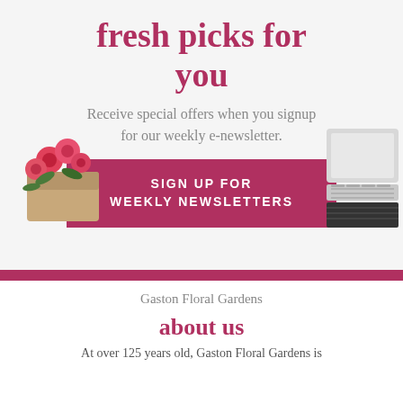fresh picks for you
Receive special offers when you signup for our weekly e-newsletter.
[Figure (other): Pink button reading SIGN UP FOR WEEKLY NEWSLETTERS on a light grey background, with flowers on the left and a laptop on the right]
Gaston Floral Gardens
about us
At over 125 years old, Gaston Floral Gardens is